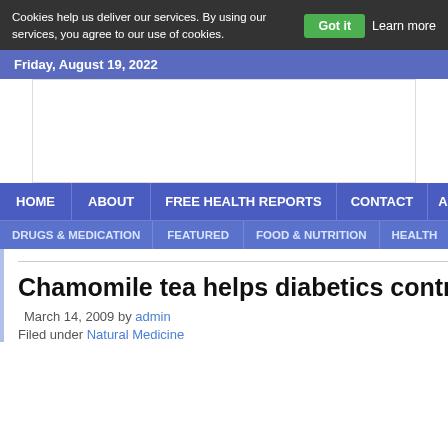Cookies help us deliver our services. By using our services, you agree to our use of cookies.  Got it  Learn more
Friday, August 19, 2022
[Figure (other): Advertisement/banner area (blank white rectangle)]
HOME  ABOUT  FREE HEALTH REPORTS  CONTACT  A
DRUGS & MEDICATION  FEATURED  FOOD & NUTRITION  HEALTH
Chamomile tea helps diabetics control bloo
March 14, 2009 by admin
Filed under Natural Medicine